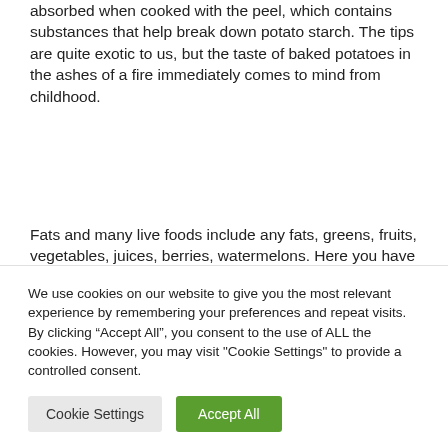absorbed when cooked with the peel, which contains substances that help break down potato starch. The tips are quite exotic to us, but the taste of baked potatoes in the ashes of a fire immediately comes to mind from childhood.
Fats and many live foods include any fats, greens, fruits, vegetables, juices, berries, watermelons. Here you have to take into
We use cookies on our website to give you the most relevant experience by remembering your preferences and repeat visits. By clicking “Accept All”, you consent to the use of ALL the cookies. However, you may visit "Cookie Settings" to provide a controlled consent.